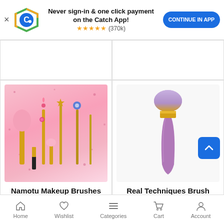[Figure (screenshot): App banner with Catch logo, 'Never sign-in & one click payment on the Catch App!', star rating (370k), and CONTINUE IN APP button]
[Figure (photo): Namotu Makeup Brushes Set - 8pcs product image on pink background with decorative wand handles]
Namotu Makeup Brushes Set - 8pcs
CUOPE
[Figure (photo): Real Techniques Bru Crush Contour Brush - single purple/mauve contour brush on white background]
Real Techniques Bru Crush Contour Brush
Beautify Me
Home  Wishlist  Categories  Cart  Account